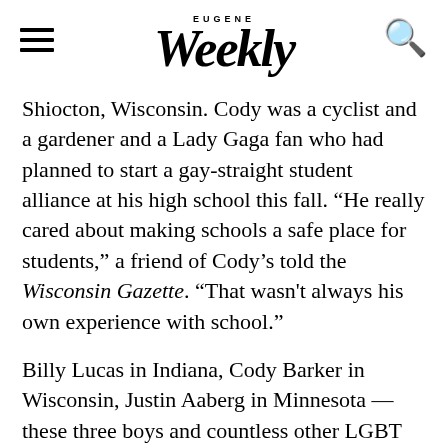EUGENE Weekly
Shiocton, Wisconsin. Cody was a cyclist and a gardener and a Lady Gaga fan who had planned to start a gay-straight student alliance at his high school this fall. “He really cared about making schools a safe place for students,” a friend of Cody’s told the Wisconsin Gazette. “That wasn't always his own experience with school.”
Billy Lucas in Indiana, Cody Barker in Wisconsin, Justin Aaberg in Minnesota — these three boys and countless other LGBT kids have committed suicide because they couldn't picture a future for themselves.